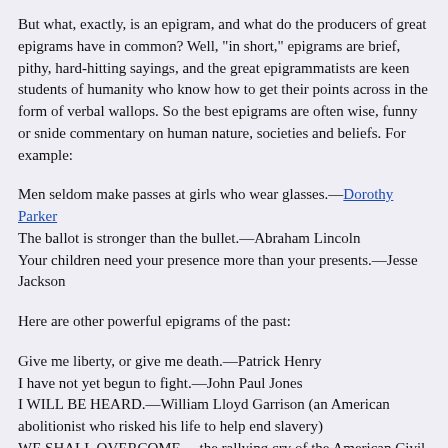But what, exactly, is an epigram, and what do the producers of great epigrams have in common? Well, "in short," epigrams are brief, pithy, hard-hitting sayings, and the great epigrammatists are keen students of humanity who know how to get their points across in the form of verbal wallops. So the best epigrams are often wise, funny or snide commentary on human nature, societies and beliefs. For example:
Men seldom make passes at girls who wear glasses.—Dorothy Parker
The ballot is stronger than the bullet.—Abraham Lincoln
Your children need your presence more than your presents.—Jesse Jackson
Here are other powerful epigrams of the past:
Give me liberty, or give me death.—Patrick Henry
I have not yet begun to fight.—John Paul Jones
I WILL BE HEARD.—William Lloyd Garrison (an American abolitionist who risked his life to help end slavery)
WE SHALL OVERCOME.—the rallying cry of the American Civil Rights Movement
I have a dream.—Dr. Martin Luther King Jr.
The characteristics of great epigrams are as follows: